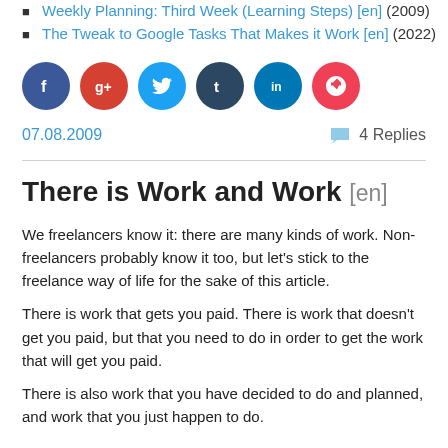Weekly Planning: Third Week (Learning Steps) [en] (2009)
The Tweak to Google Tasks That Makes it Work [en] (2022)
[Figure (infographic): Social media share buttons: Facebook, Google+, Twitter, Tumblr, LinkedIn, Pocket]
07.08.2009    4 Replies
There is Work and Work [en]
We freelancers know it: there are many kinds of work. Non-freelancers probably know it too, but let's stick to the freelance way of life for the sake of this article.
There is work that gets you paid. There is work that doesn't get you paid, but that you need to do in order to get the work that will get you paid.
There is also work that you have decided to do and planned, and work that you just happen to do.